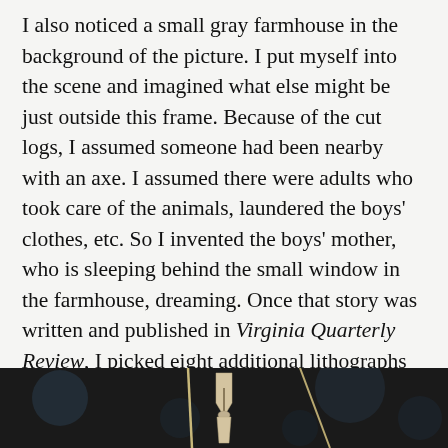I also noticed a small gray farmhouse in the background of the picture. I put myself into the scene and imagined what else might be just outside this frame. Because of the cut logs, I assumed someone had been nearby with an axe. I assumed there were adults who took care of the animals, laundered the boys' clothes, etc. So I invented the boys' mother, who is sleeping behind the small window in the farmhouse, dreaming. Once that story was written and published in Virginia Quarterly Review, I picked eight additional lithographs that spoke to me and followed a similar pattern for each new story: describing what I saw; thoroughly researching the place and time; inventing characters; and giving new dreams, goals, and backstories  to the real-life people Benton had portrayed.
[Figure (photo): Dark background photograph showing what appears to be a clothespin or similar object with blurred bokeh background]